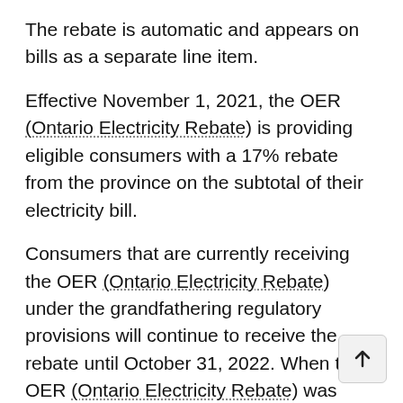The rebate is automatic and appears on bills as a separate line item.
Effective November 1, 2021, the OER (Ontario Electricity Rebate) is providing eligible consumers with a 17% rebate from the province on the subtotal of their electricity bill.
Consumers that are currently receiving the OER (Ontario Electricity Rebate) under the grandfathering regulatory provisions will continue to receive the rebate until October 31, 2022. When the OER (Ontario Electricity Rebate) was introduced, a grandfathering period was put in place for consumers that were previously receiving the 8% rebate as of October 22, 2019, if they met prescribed requirements to provide notice to their electricity vendor before February 1,